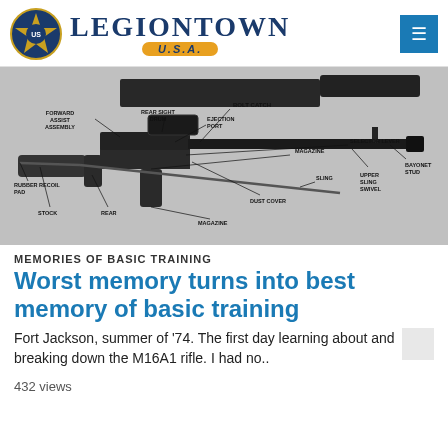LEGIONTOWN U.S.A.
[Figure (engineering-diagram): Labeled diagram of an M16A1 rifle with callouts identifying parts: Bolt Catch, Forward Assist Assembly, Rear Sight Drum, Ejection Port, Magazine, Selector Lever, Bayonet Stud, Upper Sling Swivel, Sling, Dust Cover, Magazine (bottom), Rear, Stock, Rubber Recoil Pad]
MEMORIES OF BASIC TRAINING
Worst memory turns into best memory of basic training
Fort Jackson, summer of '74. The first day learning about and breaking down the M16A1 rifle. I had no..
432 views